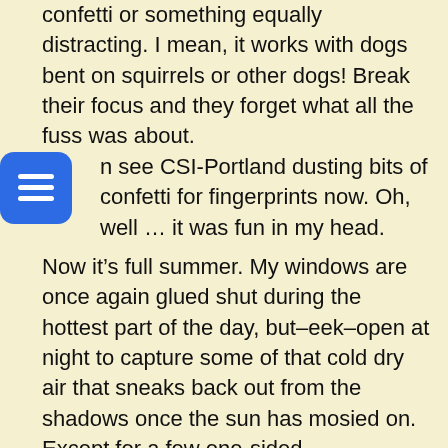confetti or something equally distracting. I mean, it works with dogs bent on squirrels or other dogs! Break their focus and they forget what all the fuss was about.
n see CSI-Portland dusting bits of confetti for fingerprints now. Oh, well … it was fun in my head.
Now it's full summer. My windows are once again glued shut during the hottest part of the day, but–eek–open at night to capture some of that cold dry air that sneaks back out from the shadows once the sun has mosied on. Except for a few one-sided conversations and the rare cussing-at-god moments passing outside, the scene is a relatively quiet this time of night. I'm usually taking this time to game online, or write in my blog (like now), or cuddle with my kitties while watching a movie, or just relaxing with the breeze . . . a normal night . . .
Until something rare happened a few days ago: my kitties and I heard feet shuffling outside the window, then silence. (Were they trying to peek in?) . . . then the sound of running water. Oh, ugh…